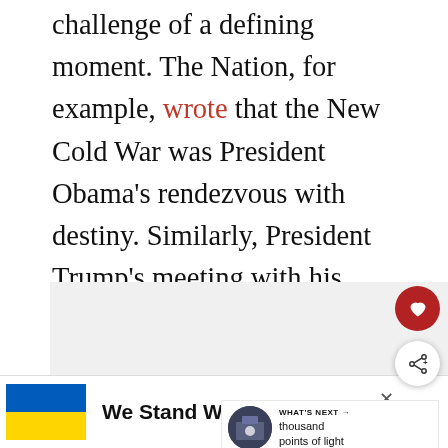challenge of a defining moment. The Nation, for example, wrote that the New Cold War was President Obama's rendezvous with destiny. Similarly, President Trump's meeting with his Israeli counterpart was referred to as their rendezvous with destiny.
[Figure (screenshot): UI action buttons: heart/favorite (red circle) and share (white circle with shadow), and a 'WHAT'S NEXT' panel showing a thumbnail and text 'thousand points of light']
[Figure (infographic): Advertisement banner with Ukrainian flag (blue and yellow), bold text 'We Stand With You', close button X, and logo mark]